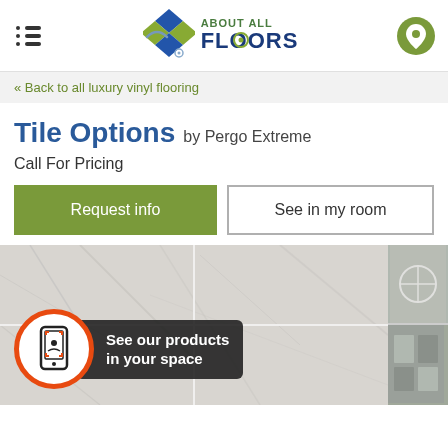[Figure (logo): About All Floors logo with diamond tile graphic in blue and green, location pin icon on right, hamburger menu on left]
« Back to all luxury vinyl flooring
Tile Options by Pergo Extreme
Call For Pricing
Request info
See in my room
[Figure (photo): Marble/stone-look luxury vinyl tile flooring in light grey/white tones. An AR overlay badge shows a phone with scan icon and the text 'See our products in your space'. Thumbnail images visible on right side.]